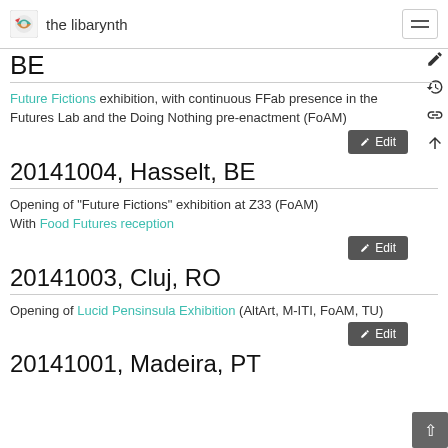the libarynth
BE
Future Fictions exhibition, with continuous FFab presence in the Futures Lab and the Doing Nothing pre-enactment (FoAM)
20141004, Hasselt, BE
Opening of “Future Fictions” exhibition at Z33 (FoAM) With Food Futures reception
20141003, Cluj, RO
Opening of Lucid Pensinsula Exhibition (AltArt, M-ITI, FoAM, TU)
20141001, Madeira, PT